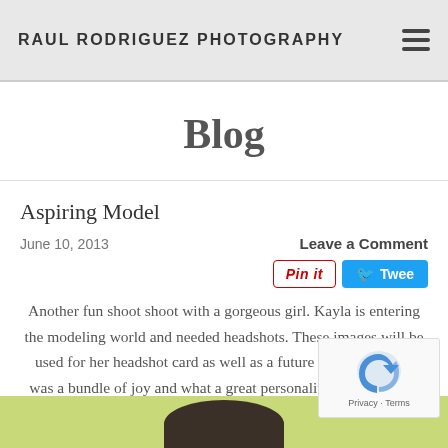RAUL RODRIGUEZ PHOTOGRAPHY
Blog
Aspiring Model
June 10, 2013
Leave a Comment
Another fun shoot shoot with a gorgeous girl. Kayla is entering the modeling world and needed headshots. These images will be used for her headshot card as well as a future composite. She was a bundle of joy and what a great personality. I see her on a few covers in the future. All images captured with natural light using diffusers and reflectors.
[Figure (photo): Bottom of page showing top of a model's head against a yellow-green background, partially cropped]